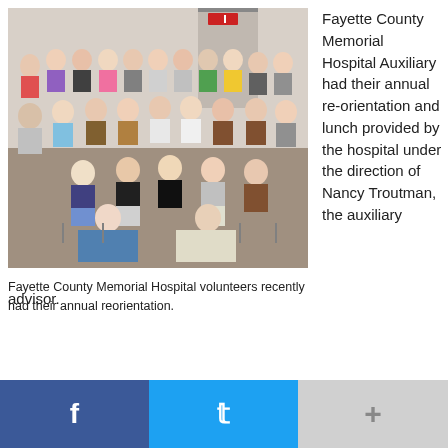[Figure (photo): Group photo of Fayette County Memorial Hospital Auxiliary volunteers gathered in a room for their annual re-orientation event. Multiple rows of people, mostly elderly women, posing together.]
Fayette County Memorial Hospital volunteers recently had their annual reorientation.
Fayette County Memorial Hospital Auxiliary had their annual re-orientation and lunch provided by the hospital under the direction of Nancy Troutman, the auxiliary advisor.